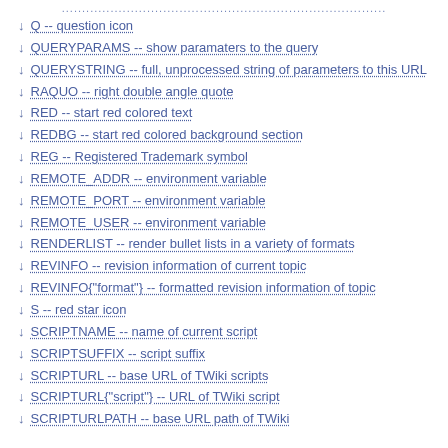Q -- question icon
QUERYPARAMS -- show paramaters to the query
QUERYSTRING -- full, unprocessed string of parameters to this URL
RAQUO -- right double angle quote
RED -- start red colored text
REDBG -- start red colored background section
REG -- Registered Trademark symbol
REMOTE_ADDR -- environment variable
REMOTE_PORT -- environment variable
REMOTE_USER -- environment variable
RENDERLIST -- render bullet lists in a variety of formats
REVINFO -- revision information of current topic
REVINFO{"format"} -- formatted revision information of topic
S -- red star icon
SCRIPTNAME -- name of current script
SCRIPTSUFFIX -- script suffix
SCRIPTURL -- base URL of TWiki scripts
SCRIPTURL{"script"} -- URL of TWiki script
SCRIPTURLPATH -- base URL path of TWiki